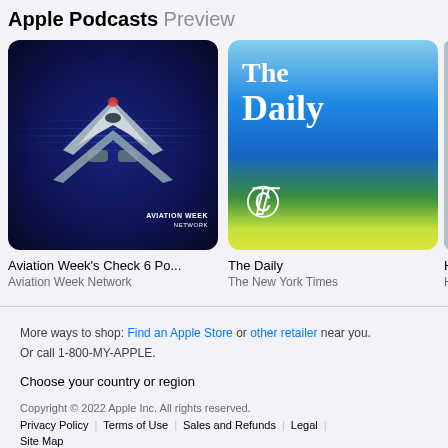Apple Podcasts Preview
[Figure (screenshot): Aviation Week's Check 6 podcast cover art: futuristic fighter jet against a dark blue space/sky background with glowing sound wave lines. Text reads AVIATION WEEK NETWORK in lower right.]
[Figure (screenshot): The Daily podcast cover art: blue to yellow gradient background with 'The Daily' text in white serif font at top and New York Times logo in white at bottom left.]
Aviation Week's Check 6 Po...
Aviation Week Network
The Daily
The New York Times
Ha
Ha
More ways to shop: Find an Apple Store or other retailer near you. Or call 1-800-MY-APPLE.

Choose your country or region

Copyright © 2022 Apple Inc. All rights reserved.
Privacy Policy | Terms of Use | Sales and Refunds | Legal | Site Map